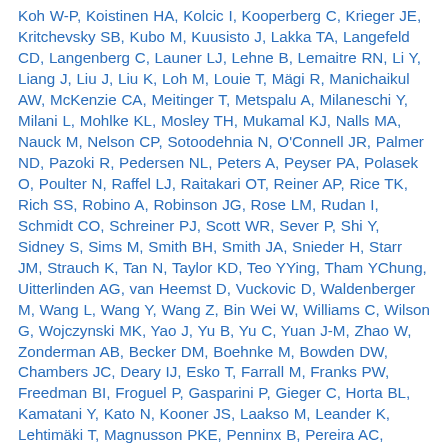Koh W-P, Koistinen HA, Kolcic I, Kooperberg C, Krieger JE, Kritchevsky SB, Kubo M, Kuusisto J, Lakka TA, Langefeld CD, Langenberg C, Launer LJ, Lehne B, Lemaitre RN, Li Y, Liang J, Liu J, Liu K, Loh M, Louie T, Mägi R, Manichaikul AW, McKenzie CA, Meitinger T, Metspalu A, Milaneschi Y, Milani L, Mohlke KL, Mosley TH, Mukamal KJ, Nalls MA, Nauck M, Nelson CP, Sotoodehnia N, O'Connell JR, Palmer ND, Pazoki R, Pedersen NL, Peters A, Peyser PA, Polasek O, Poulter N, Raffel LJ, Raitakari OT, Reiner AP, Rice TK, Rich SS, Robino A, Robinson JG, Rose LM, Rudan I, Schmidt CO, Schreiner PJ, Scott WR, Sever P, Shi Y, Sidney S, Sims M, Smith BH, Smith JA, Snieder H, Starr JM, Strauch K, Tan N, Taylor KD, Teo YYing, Tham YChung, Uitterlinden AG, van Heemst D, Vuckovic D, Waldenberger M, Wang L, Wang Y, Wang Z, Bin Wei W, Williams C, Wilson G, Wojczynski MK, Yao J, Yu B, Yu C, Yuan J-M, Zhao W, Zonderman AB, Becker DM, Boehnke M, Bowden DW, Chambers JC, Deary IJ, Esko T, Farrall M, Franks PW, Freedman BI, Froguel P, Gasparini P, Gieger C, Horta BL, Kamatani Y, Kato N, Kooner JS, Laakso M, Leander K, Lehtimäki T, Magnusson PKE, Penninx B, Pereira AC, Rauramaa R, Samani NJ, Scott J, Shu X-O, van der Harst P, Wagenknecht LE, Wang YXing, Wareham NJ, Watkins H, Weir DR, Wickremasinghe AR, Zheng W, Elliott P, North KE, Bouchard C, Evans MK, Gudnason V, Liu C-T, Liu Y, Psaty BM,